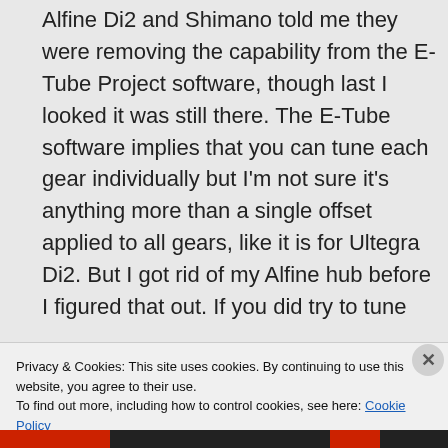Alfine Di2 and Shimano told me they were removing the capability from the E-Tube Project software, though last I looked it was still there. The E-Tube software implies that you can tune each gear individually but I'm not sure it's anything more than a single offset applied to all gears, like it is for Ultegra Di2. But I got rid of my Alfine hub before I figured that out. If you did try to tune
Privacy & Cookies: This site uses cookies. By continuing to use this website, you agree to their use.
To find out more, including how to control cookies, see here: Cookie Policy